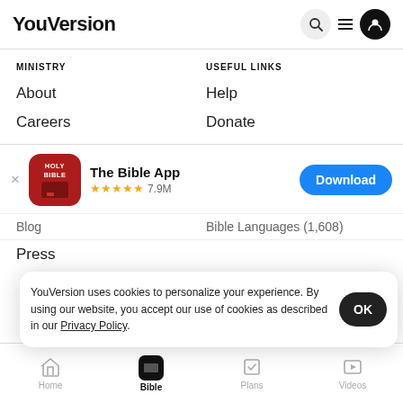YouVersion
MINISTRY
USEFUL LINKS
About
Help
Careers
Donate
[Figure (screenshot): App store banner: The Bible App, 5 stars, 7.9M ratings, Download button]
Blog
Bible Languages (1,608)
Press
YouVersion uses cookies to personalize your experience. By using our website, you accept our use of cookies as described in our Privacy Policy.
Home  Bible  Plans  Videos